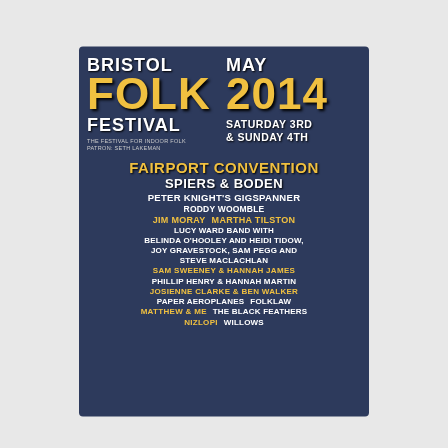[Figure (illustration): Bristol Folk Festival promotional poster with dark navy blue background, showing festival name, dates and lineup of artists]
BRISTOL FOLK FESTIVAL
MAY 2014
SATURDAY 3RD & SUNDAY 4TH
THE FESTIVAL FOR INDOOR FOLK
PATRON: SETH LAKEMAN
FAIRPORT CONVENTION
SPIERS & BODEN
PETER KNIGHT'S GIGSPANNER
RODDY WOOMBLE
JIM MORAY   MARTHA TILSTON
LUCY WARD BAND WITH BELINDA O'HOOLEY AND HEIDI TIDOW,
JOY GRAVESTOCK, SAM PEGG AND STEVE MACLACHLAN
SAM SWEENEY & HANNAH JAMES
PHILLIP HENRY & HANNAH MARTIN
JOSIENNE CLARKE & BEN WALKER
PAPER AEROPLANES   FOLKLAW
MATTHEW & ME   THE BLACK FEATHERS
NIZLOPI   [WILLOWS]